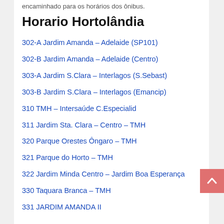encaminhado para os horários dos ônibus.
Horario Hortolândia
302-A Jardim Amanda – Adelaide (SP101)
302-B Jardim Amanda – Adelaide (Centro)
303-A Jardim S.Clara – Interlagos (S.Sebast)
303-B Jardim S.Clara – Interlagos (Emancip)
310 TMH – Intersaúde C.Especialid
311 Jardim Sta. Clara – Centro – TMH
320 Parque Orestes Ôngaro – TMH
321 Parque do Horto – TMH
322 Jardim Minda Centro – Jardim Boa Esperança
330 Taquara Branca – TMH
331 JARDIM AMANDA II